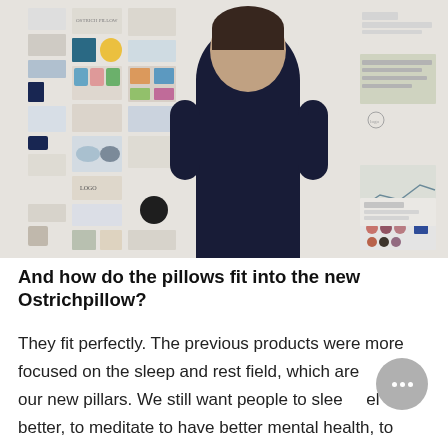[Figure (photo): A person viewed from behind, wearing a dark navy t-shirt, standing in front of a large white wall covered with many design mood board images, product photos, sketches, color swatches, and design documents pinned up in a collage.]
And how do the pillows fit into the new Ostrichpillow?
They fit perfectly. The previous products were more focused on the sleep and rest field, which are part of our new pillars. We still want people to sleep better, to meditate to have better mental health, to